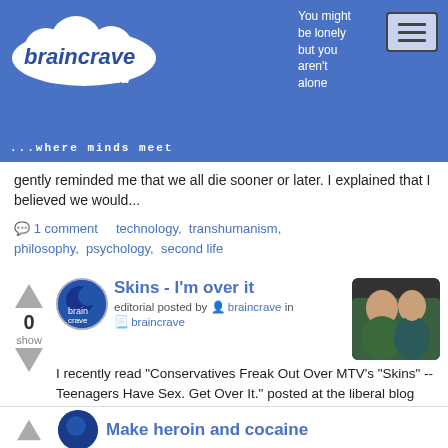braincrave.com ...where minds meet | You might be lonely but you aren't alone
gently reminded me that we all die sooner or later. I explained that I believed we would...
💬 1 comment   technology,  transhumanism,  philosophy,  psychology,  second life
Skins - I'm over it
Editorial posted by braincrave in braincrave
I recently read "Conservatives Freak Out Over MTV's "Skins" -- Teenagers Have Sex. Get Over It." posted at the liberal blog AlterNet. If you have any question as to why kids, especially teenagers, ha...
💬 1 comment   philosophy,  parenting,  children,  entertainment,  education,  teenagers
Make heroin and cocaine